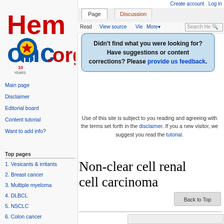Create account  Log in
[Figure (logo): HemOnc.org logo with red Hem text, blue Onc text, ribbon and star with 10 Years]
Main page
Disclaimer
Editorial board
Content tutorial
Want to add info?
Top pages
1. Vesicants & irritants
2. Breast cancer
3. Multiple myeloma
4. DLBCL
5. NSCLC
6. Colon cancer
7. AML
Didn't find what you were looking for? Have suggestions or content corrections? Please provide us feedback.
Use of this site is subject to you reading and agreeing with the terms set forth in the disclaimer. If you a new visitor, we suggest you read the tutorial.
Non-clear cell renal cell carcinoma